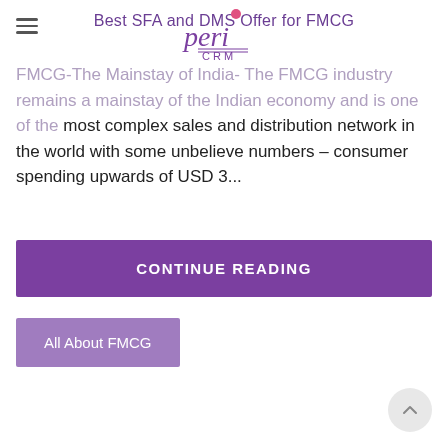Best SFA and DMS Offer for FMCG [Peri CRM logo]
Best SFA and DMS Offer for FMCG
FMCG-The Mainstay of India- The FMCG industry remains a mainstay of the Indian economy and is one of the most complex sales and distribution network in the world with some unbelieve numbers – consumer spending upwards of USD 3...
CONTINUE READING
All About FMCG